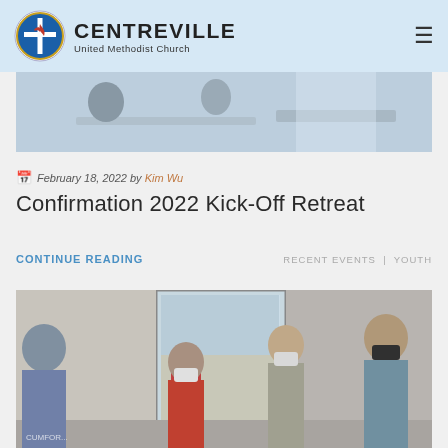Centreville United Methodist Church
[Figure (photo): Website header banner showing a classroom/office scene with blue tinted background]
February 18, 2022 by Kim Wu
Confirmation 2022 Kick-Off Retreat
CONTINUE READING    RECENT EVENTS  |  YOUTH
[Figure (photo): Group of people including youth and adults wearing face masks, standing indoors in a circle, looking down at something]